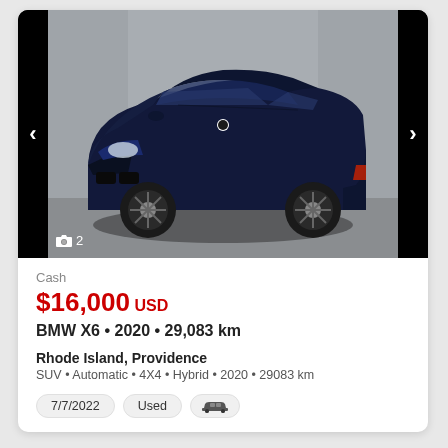[Figure (photo): Dark navy blue BMW X6 SUV photographed from front-left angle in a studio/garage setting with grey concrete wall background. Navigation arrows on left and right sides. Camera icon with number 2 at bottom left.]
Cash
$16,000 USD
BMW X6 • 2020 • 29,083 km
Rhode Island, Providence
SUV • Automatic • 4X4 • Hybrid • 2020 • 29083 km
7/7/2022   Used   [car icon]